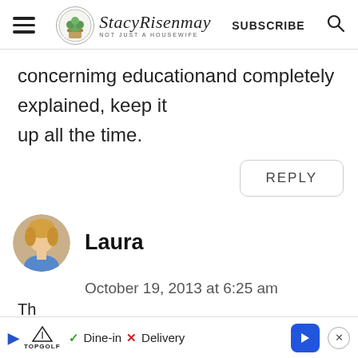StacyRisenmay | SUBSCRIBE
concernimg educationand completely explained, keep it up all the time.
REPLY
Laura
October 19, 2013 at 6:25 am
[Figure (other): Advertisement bar: Topgolf logo, checkmark Dine-in, X Delivery, blue arrow navigation button, close button]
Th